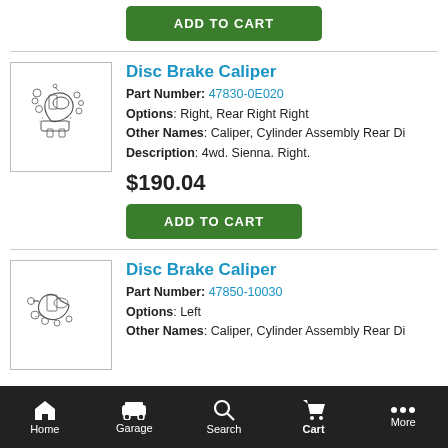[Figure (other): Green ADD TO CART button at top]
[Figure (illustration): Disc brake caliper parts diagram - exploded view with multiple components]
Disc Brake Caliper
Part Number: 47830-0E020
Options: Right, Rear Right Right
Other Names: Caliper, Cylinder Assembly Rear Di
Description: 4wd. Sienna. Right.
$190.04
[Figure (other): Green ADD TO CART button]
[Figure (illustration): Disc brake caliper parts diagram - second item]
Disc Brake Caliper
Part Number: 47850-10030
Options: Left
Other Names: Caliper, Cylinder Assembly Rear Di
Home  Garage  Search  Cart  More